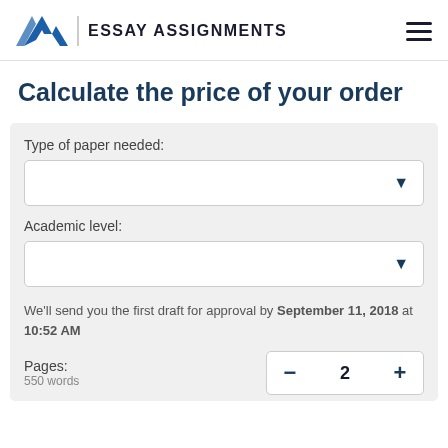EA | ESSAY ASSIGNMENTS
Calculate the price of your order
Type of paper needed:
Academic level:
We'll send you the first draft for approval by September 11, 2018 at 10:52 AM
Pages:
550 words
2